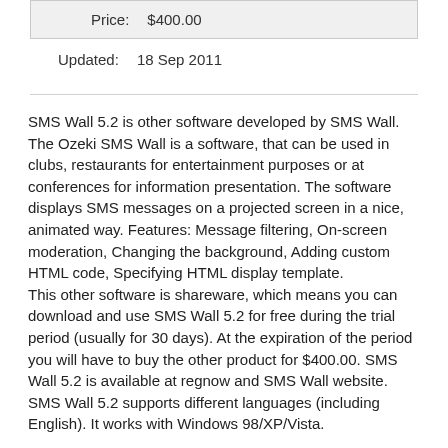| Price: |
| --- |
| $400.00 |
Updated:    18 Sep 2011
SMS Wall 5.2 is other software developed by SMS Wall. The Ozeki SMS Wall is a software, that can be used in clubs, restaurants for entertainment purposes or at conferences for information presentation. The software displays SMS messages on a projected screen in a nice, animated way. Features: Message filtering, On-screen moderation, Changing the background, Adding custom HTML code, Specifying HTML display template.
This other software is shareware, which means you can download and use SMS Wall 5.2 for free during the trial period (usually for 30 days). At the expiration of the period you will have to buy the other product for $400.00. SMS Wall 5.2 is available at regnow and SMS Wall website. SMS Wall 5.2 supports different languages (including English). It works with Windows 98/XP/Vista.